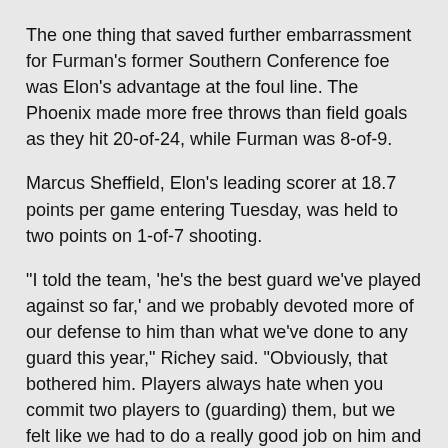The one thing that saved further embarrassment for Furman's former Southern Conference foe was Elon's advantage at the foul line. The Phoenix made more free throws than field goals as they hit 20-of-24, while Furman was 8-of-9.
Marcus Sheffield, Elon's leading scorer at 18.7 points per game entering Tuesday, was held to two points on 1-of-7 shooting.
"I told the team, 'he's the best guard we've played against so far,' and we probably devoted more of our defense to him than what we've done to any guard this year," Richey said. "Obviously, that bothered him. Players always hate when you commit two players to (guarding) them, but we felt like we had to do a really good job on him and fortunately we did."
There's not much time to celebrate the blowout win for Furman. As part of the tournament, the Paladins will take on UT-Arlington at 2 p.m. Wednesday at Elon. UT-Arlington (3-